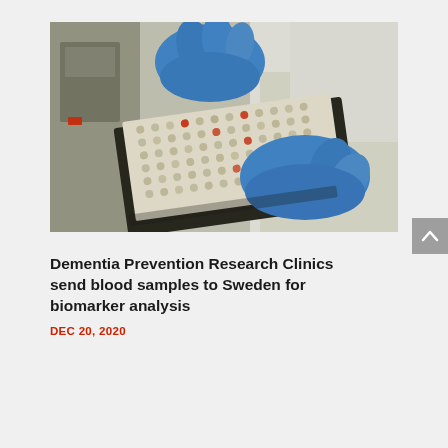[Figure (photo): A person wearing blue latex gloves and a white lab coat handling a multi-well laboratory plate (96-well or 384-well plate) with some red-capped sample tubes visible in the wells. The background shows laboratory equipment.]
Dementia Prevention Research Clinics send blood samples to Sweden for biomarker analysis
DEC 20, 2020